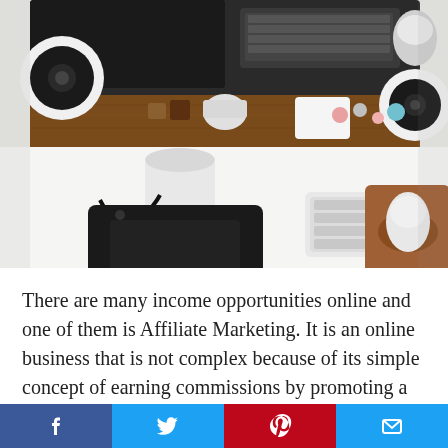[Figure (photo): Overhead/top-down view of a modern desk setup with an iMac monitor, Apple keyboard, Apple Magic Mouse on a wooden mouse pad, a graphics tablet, two white speakers, a coffee mug, and various small figurines on a wooden shelf surface, shot from above on a white desk.]
There are many income opportunities online and one of them is Affiliate Marketing. It is an online business that is not complex because of its simple concept of earning commissions by promoting a product and yet
[Figure (infographic): Social sharing bar at the bottom with four buttons: Facebook (blue), Twitter (light blue), Pinterest (red), and Email (light blue), each with their respective icons.]